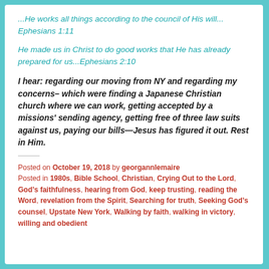...He works all things according to the council of His will... Ephesians 1:11
He made us in Christ to do good works that He has already prepared for us...Ephesians 2:10
I hear: regarding our moving from NY and regarding my concerns– which were finding a Japanese Christian church where we can work, getting accepted by a missions' sending agency, getting free of three law suits against us, paying our bills—Jesus has figured it out. Rest in Him.
Posted on October 19, 2018 by georgannlemaire
Posted in 1980s, Bible School, Christian, Crying Out to the Lord, God’s faithfulness, hearing from God, keep trusting, reading the Word, revelation from the Spirit, Searching for truth, Seeking God’s counsel, Upstate New York, Walking by faith, walking in victory, willing and obedient